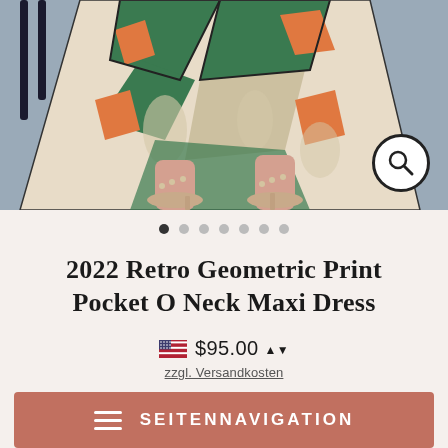[Figure (photo): Product photo showing lower half of model wearing a green/orange retro geometric print maxi dress with beige studded heeled sandals, on a blue-gray background. A magnifying glass search icon is overlaid in bottom-right corner.]
2022 Retro Geometric Print Pocket O Neck Maxi Dress
$95.00
zzgl. Versandkosten
SEITENNAVIGATION
Green ∨